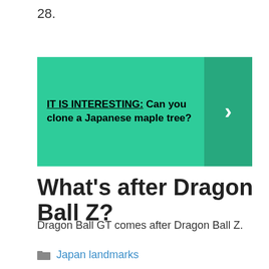28.
[Figure (infographic): Teal/green banner with bold text: IT IS INTERESTING: Can you clone a Japanese maple tree? with a right arrow chevron on a darker teal background on the right side.]
What’s after Dragon Ball Z?
Dragon Ball GT comes after Dragon Ball Z.
Japan landmarks